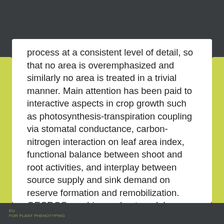process at a consistent level of detail, so that no area is overemphasized and similarly no area is treated in a trivial manner. Main attention has been paid to interactive aspects in crop growth such as photosynthesis-transpiration coupling via stomatal conductance, carbon-nitrogen interaction on leaf area index, functional balance between shoot and root activities, and interplay between source supply and sink demand on reserve formation and remobilization. GECROS combines robust model algorithm, high computational efficiency, and accurate model output with minimum number of input parameters that require periodical destructive sampling to estimate.
EU
FOR PLANT PHENOTYPING